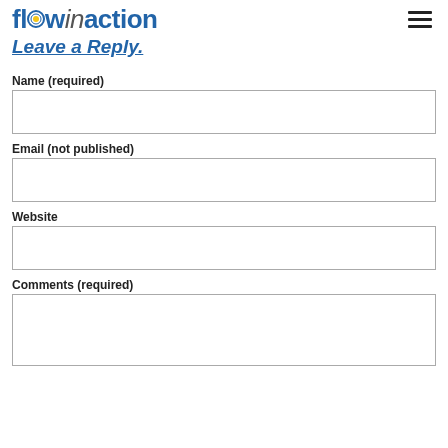flowinaction
Leave a Reply.
Name (required)
Email (not published)
Website
Comments (required)